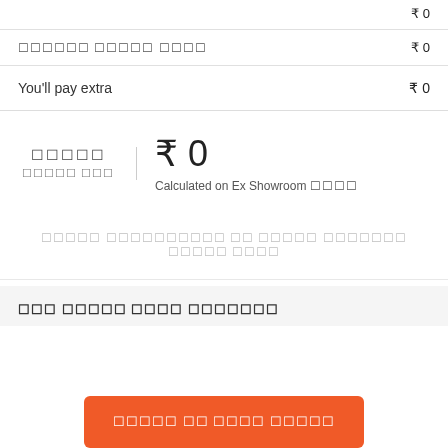₹ 0
□□□□□□ □□□□□ □□□□  ₹ 0
You'll pay extra  ₹ 0
□□□□□  □□□□□ □□□  ₹ 0  Calculated on Ex Showroom □□□□
□□□□□ □□□□□□□□□□ □□ □□□□□ □□□□□□□ □□□□□ □□□□
□□□ □□□□□ □□□□ □□□□□□□
□□□□□ □□ □□□□ □□□□□